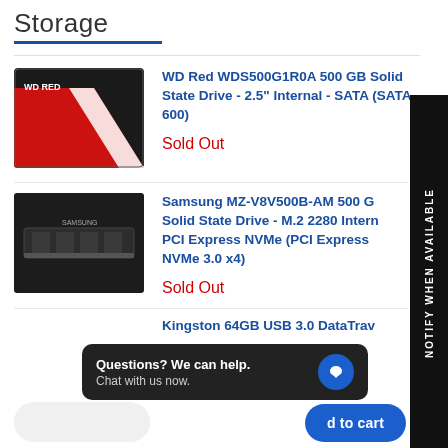Storage
[Figure (photo): WD Red 500GB SSD - 2.5 inch drive with red and white design on black background]
WD Red WDS500G1R0A 500 GB Solid State Drive - 2.5" Internal - SATA (SATA-600)
Sold Out
[Figure (photo): Samsung MZ-V8V500B-AM 500GB M.2 NVMe SSD - thin rectangular black drive]
Samsung MZ-V8V500B-AM 500 GB Solid State Drive - M.2 2280 Internal - PCI Express NVMe (PCI Express NVMe 3.0 x4)
Sold Out
Kingston 64GB USB 3.0 DataTrav...
NOTIFY WHEN AVAILABLE
Questions? We can help. Chat with us now.